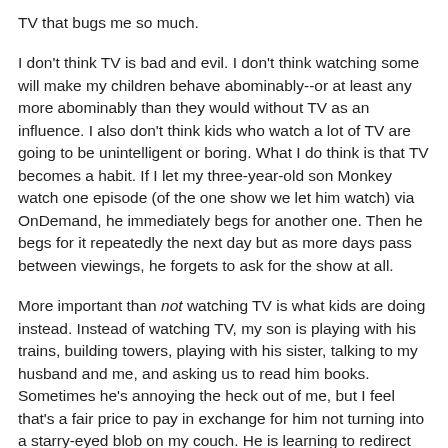TV that bugs me so much.
I don't think TV is bad and evil. I don't think watching some will make my children behave abominably--or at least any more abominably than they would without TV as an influence. I also don't think kids who watch a lot of TV are going to be unintelligent or boring. What I do think is that TV becomes a habit. If I let my three-year-old son Monkey watch one episode (of the one show we let him watch) via OnDemand, he immediately begs for another one. Then he begs for it repeatedly the next day but as more days pass between viewings, he forgets to ask for the show at all.
More important than not watching TV is what kids are doing instead. Instead of watching TV, my son is playing with his trains, building towers, playing with his sister, talking to my husband and me, and asking us to read him books. Sometimes he's annoying the heck out of me, but I feel that's a fair price to pay in exchange for him not turning into a starry-eyed blob on my couch. He is learning to redirect his energy, he is learning to be creative, he is learning that he can survive being bored and find an alternative that is not TV. Having